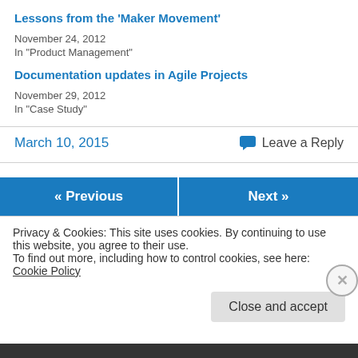Lessons from the 'Maker Movement'
November 24, 2012
In "Product Management"
Documentation updates in Agile Projects
November 29, 2012
In "Case Study"
March 10, 2015
Leave a Reply
« Previous
Next »
Privacy & Cookies: This site uses cookies. By continuing to use this website, you agree to their use.
To find out more, including how to control cookies, see here: Cookie Policy
Close and accept